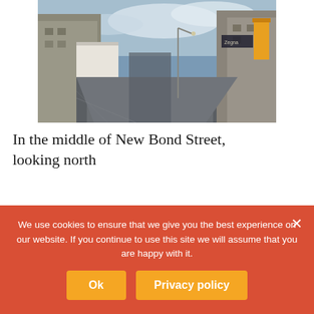[Figure (photo): Street-level photograph looking north along New Bond Street, London. The street is empty with tall buildings on both sides and a yellow banner visible on the right. Overcast sky.]
In the middle of New Bond Street, looking north
We now find ourselves on Oxford Street, looking east, with the iconic façade of
We use cookies to ensure that we give you the best experience on our website. If you continue to use this site we will assume that you are happy with it.